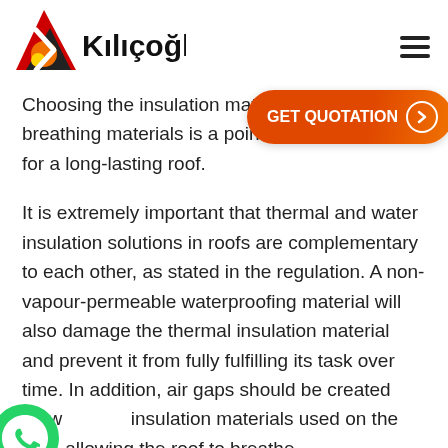[Figure (logo): Kiliçoğlu company logo with red and orange flame/arrow graphic and bold black text]
Choosing the insulation materials used in breathing materials is a point to be considered for a long-lasting roof.
It is extremely important that thermal and water insulation solutions in roofs are complementary to each other, as stated in the regulation. A non-vapour-permeable waterproofing material will also damage the thermal insulation material and prevent it from fully fulfilling its task over time. In addition, air gaps should be created between insulation materials used on the roof, allowing the roof to breathe.